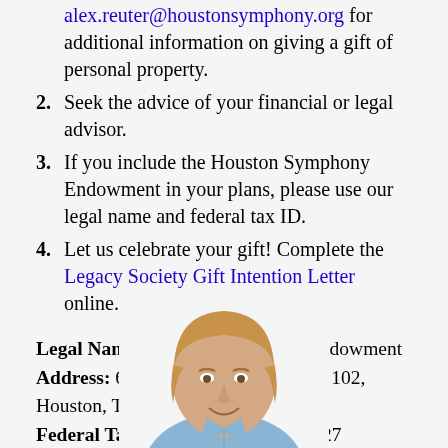alex.reuter@houstonsymphony.org for additional information on giving a gift of personal property.
2. Seek the advice of your financial or legal advisor.
3. If you include the Houston Symphony Endowment in your plans, please use our legal name and federal tax ID.
4. Let us celebrate your gift! Complete the Legacy Society Gift Intention Letter online.
Legal Name: Houston Symphony Endowment
Address: 615 Louisiana Street, Suite 102, Houston, TX 77002
Federal Tax ID Number: 20-8350227
[Figure (photo): Portrait photo of a smiling middle-aged man with light brown hair wearing a light blue shirt, shown from the shoulders up.]